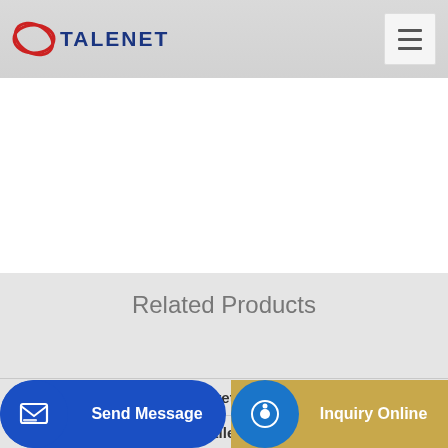TALENET
Related Products
OEM Professional Concrete Mixer And Pump lorry
Another High Quality Versatile Concrete Plant from Rapid
Concrete Pump in Bro... d 113
Send Message
Inquiry Online